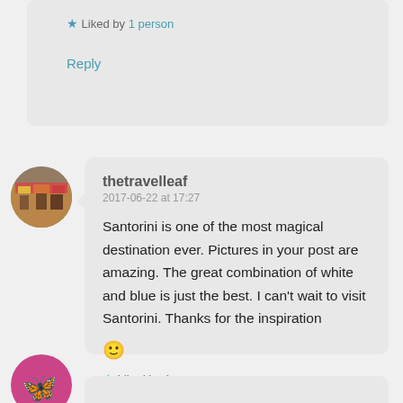★ Liked by 1 person
Reply
[Figure (photo): Circular avatar photo of a market scene with colorful stalls]
thetravelleaf
2017-06-22 at 17:27
Santorini is one of the most magical destination ever. Pictures in your post are amazing. The great combination of white and blue is just the best. I can't wait to visit Santorini. Thanks for the inspiration 🙂
★ Liked by 1 person
Reply